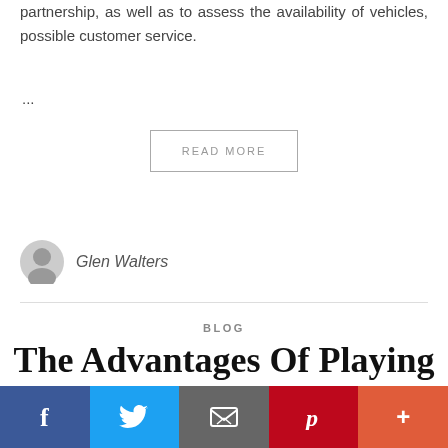partnership, as well as to assess the availability of vehicles, possible customer service.
...
READ MORE
Glen Walters
BLOG
The Advantages Of Playing Casino Games Online Vs
[Figure (infographic): Social media sharing bar with Facebook, Twitter, Email, Pinterest, and More buttons]